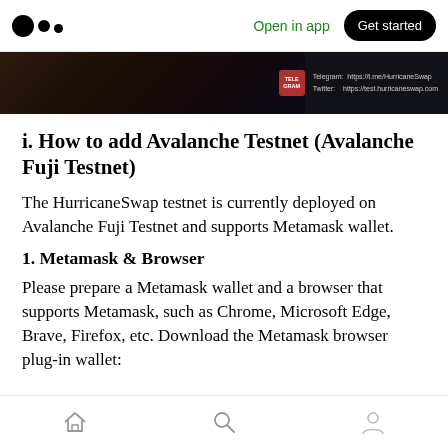Open in app | Get started
[Figure (photo): Dark banner image with HurricaneSwap branding, Telegram and Twitter links on the right side]
i. How to add Avalanche Testnet (Avalanche Fuji Testnet)
The HurricaneSwap testnet is currently deployed on Avalanche Fuji Testnet and supports Metamask wallet.
1. Metamask & Browser
Please prepare a Metamask wallet and a browser that supports Metamask, such as Chrome, Microsoft Edge, Brave, Firefox, etc. Download the Metamask browser plug-in wallet:
Home | Search | Profile